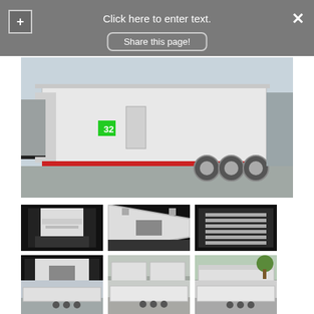Click here to enter text.
Share this page!
[Figure (photo): Large exterior side view of a white enclosed cargo/race trailer with triple axles, red reflective strip along the bottom, and a side door. Parked in a lot with buildings visible in background.]
[Figure (photo): Interior view of trailer showing black floor and white walls with cabinets/shelving on sides.]
[Figure (photo): Interior view looking down the length of the trailer with black floor and white walls.]
[Figure (photo): Rear exterior close-up view of trailer showing tail fins/vents and chrome trim.]
[Figure (photo): Interior view of trailer looking toward rear ramp door, black floor.]
[Figure (photo): Exterior side view of multiple white trailers parked in a lot.]
[Figure (photo): Exterior side view of a white enclosed trailer with triple axles parked outside with a tree visible.]
[Figure (photo): Exterior front/side view of a white enclosed trailer.]
[Figure (photo): Exterior side view of a white enclosed trailer.]
[Figure (photo): Exterior rear/side view of a white enclosed trailer.]